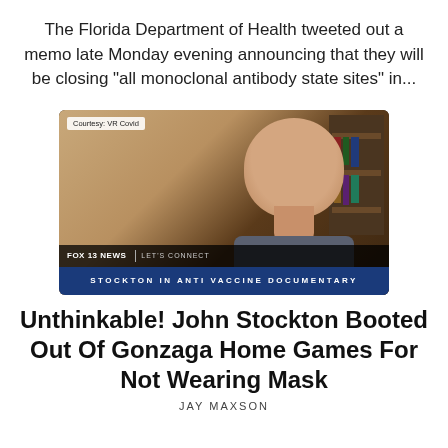The Florida Department of Health tweeted out a memo late Monday evening announcing that they will be closing “all monoclonal antibody state sites” in…
[Figure (screenshot): Video screenshot of a man (John Stockton) in a TV news segment. Upper left overlay reads 'Courtesy: VR Covid'. Lower third bar shows 'FOX 13 NEWS | LET'S CONNECT'. Blue bottom bar reads 'STOCKTON IN ANTI VACCINE DOCUMENTARY'.]
Unthinkable! John Stockton Booted Out Of Gonzaga Home Games For Not Wearing Mask
JAY MAXSON